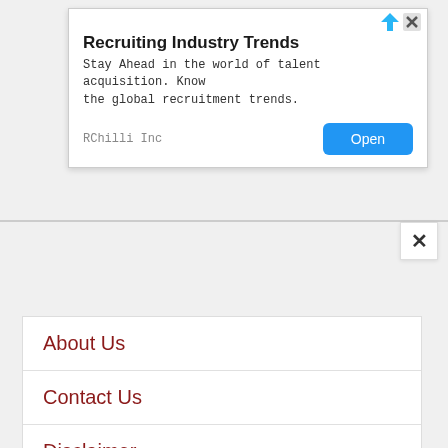[Figure (screenshot): Advertisement banner for 'Recruiting Industry Trends' by RChilli Inc with an Open button]
About Us
Contact Us
Disclaimer
Privacy Policy
Assam Careers at Social Media
Facebook Page